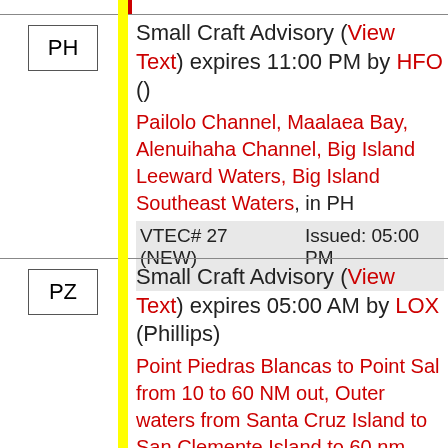Small Craft Advisory (View Text) expires 11:00 PM by HFO () Pailolo Channel, Maalaea Bay, Alenuihaha Channel, Big Island Leeward Waters, Big Island Southeast Waters, in PH VTEC# 27 (NEW) Issued: 05:00 PM Updated: 08:34 AM
Small Craft Advisory (View Text) expires 05:00 AM by LOX (Phillips) Point Piedras Blancas to Point Sal from 10 to 60 NM out, Outer waters from Santa Cruz Island to San Clemente Island to 60 nm offshore including San Nicolas Island, Waters from Pt. Sal to Santa Cruz Island CA and westward 60 nm including San Miguel and Santa Rosa Islands, in PZ VTEC# 135 (CON) Issued: 05:00 PM Updated: 03:45 PM